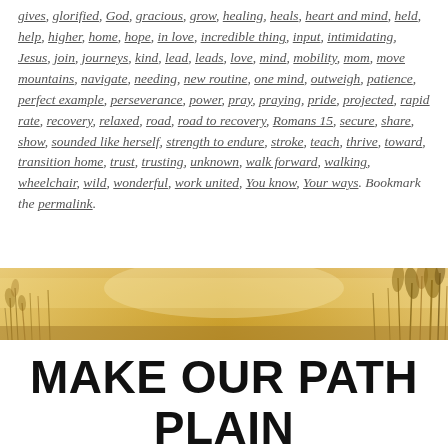gives, glorified, God, gracious, grow, healing, heals, heart and mind, held, help, higher, home, hope, in love, incredible thing, input, intimidating, Jesus, join, journeys, kind, lead, leads, love, mind, mobility, mom, move mountains, navigate, needing, new routine, one mind, outweigh, patience, perfect example, perseverance, power, pray, praying, pride, projected, rapid rate, recovery, relaxed, road, road to recovery, Romans 15, secure, share, show, sounded like herself, strength to endure, stroke, teach, thrive, toward, transition home, trust, trusting, unknown, walk forward, walking, wheelchair, wild, wonderful, work united, You know, Your ways. Bookmark the permalink.
[Figure (photo): A horizontal landscape photo strip showing golden grassy field with warm sunlight, soft focus vegetation in golden and tan hues.]
MAKE OUR PATH PLAIN